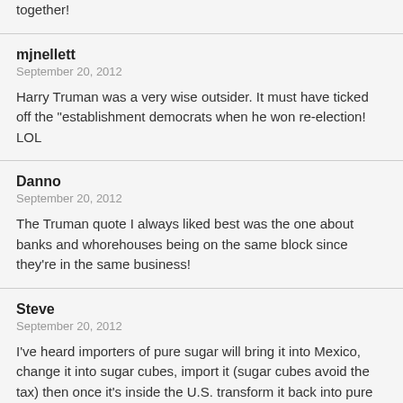together!
mjnellett
September 20, 2012

Harry Truman was a very wise outsider. It must have ticked off the "establishment democrats when he won re-election! LOL
Danno
September 20, 2012

The Truman quote I always liked best was the one about banks and whorehouses being on the same block since they're in the same business!
Steve
September 20, 2012

I've heard importers of pure sugar will bring it into Mexico, change it into sugar cubes, import it (sugar cubes avoid the tax) then once it's inside the U.S. transform it back into pure sugar. This process